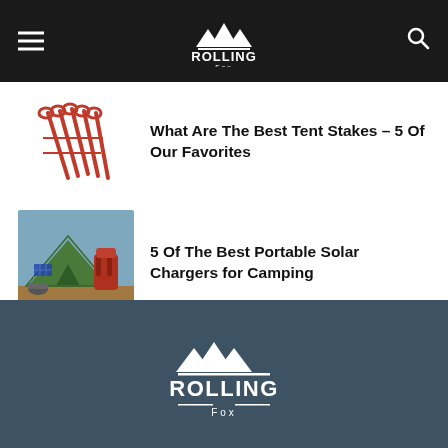ROLLING Fox
[Figure (photo): Red tent stakes bundled with red cords]
What Are The Best Tent Stakes – 5 Of Our Favorites
[Figure (photo): Green tent with red backpack on mountain top with blue sky]
5 Of The Best Portable Solar Chargers for Camping
ROLLING Fox